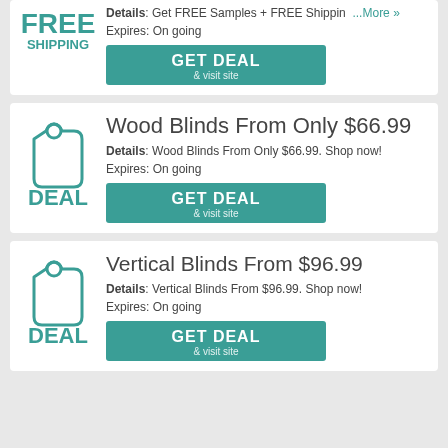[Figure (other): FREE SHIPPING label with icon at top of first card]
Details: Get FREE Samples + FREE Shippin ...More »
Expires: On going
[Figure (other): GET DEAL & visit site button]
Wood Blinds From Only $66.99
[Figure (other): Deal tag icon with DEAL label]
Details: Wood Blinds From Only $66.99. Shop now!
Expires: On going
[Figure (other): GET DEAL & visit site button]
Vertical Blinds From $96.99
[Figure (other): Deal tag icon with DEAL label]
Details: Vertical Blinds From $96.99. Shop now!
Expires: On going
[Figure (other): GET DEAL & visit site button]